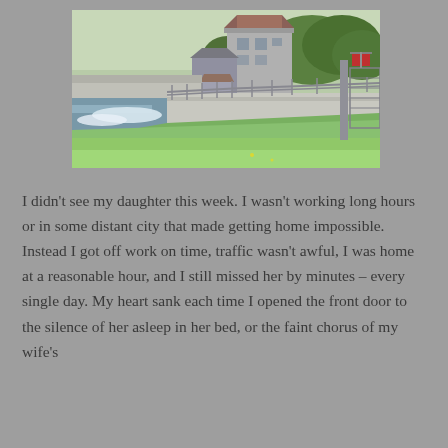[Figure (photo): Outdoor photograph of a watermill or small industrial building beside a river with rushing water, a metal railing fence on a grassy slope, a bridge in the background, and trees in the background under a clear sky.]
I didn't see my daughter this week. I wasn't working long hours or in some distant city that made getting home impossible. Instead I got off work on time, traffic wasn't awful, I was home at a reasonable hour, and I still missed her by minutes – every single day. My heart sank each time I opened the front door to the silence of her asleep in her bed, or the faint chorus of my wife's